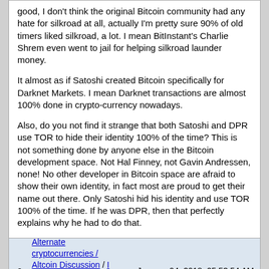good, I don't think the original Bitcoin community had any hate for silkroad at all, actually I'm pretty sure 90% of old timers liked silkroad, a lot. I mean BitInstant's Charlie Shrem even went to jail for helping silkroad launder money.

It almost as if Satoshi created Bitcoin specifically for Darknet Markets. I mean Darknet transactions are almost 100% done in crypto-currency nowadays.

Also, do you not find it strange that both Satoshi and DPR use TOR to hide their identity 100% of the time? This is not something done by anyone else in the Bitcoin development space. Not Hal Finney, not Gavin Andressen, none! No other developer in Bitcoin space are afraid to show their own identity, in fact most are proud to get their name out there. Only Satoshi hid his identity and use TOR 100% of the time. If he was DPR, then that perfectly explains why he had to do that.
9 | Alternate cryptocurrencies / Altcoin Discussion / I don't understand the value thesis of XRP (Ripple) | on: January 04, 2018, 05:53:54 AM
Ripple is: